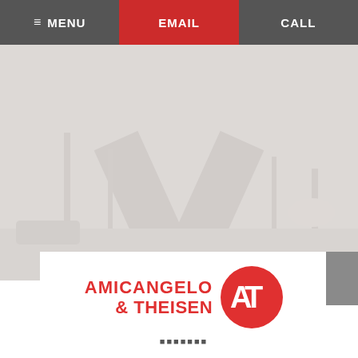MENU  EMAIL  CALL
[Figure (photo): Faded background photo of a highway or road scene, very light/washed out]
[Figure (logo): Amicangelo & Theisen law firm logo — red text 'AMICANGELO' on first line, '& THEISEN' on second line with '& THEISEN' in dark gray, accompanied by a red circle containing 'AT' monogram]
ADDRESS